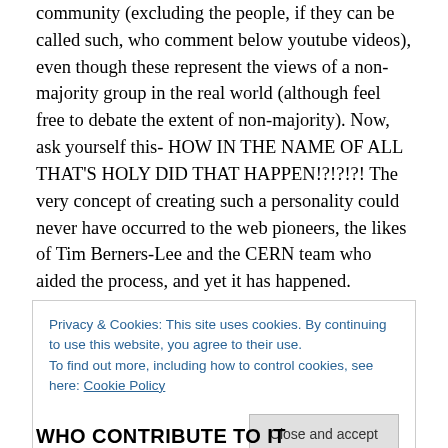community (excluding the people, if they can be called such, who comment below youtube videos), even though these represent the views of a non-majority group in the real world (although feel free to debate the extent of non-majority). Now, ask yourself this- HOW IN THE NAME OF ALL THAT'S HOLY DID THAT HAPPEN!?!?!?! The very concept of creating such a personality could never have occurred to the web pioneers, the likes of Tim Berners-Lee and the CERN team who aided the process, and yet it has happened. Swathes of the internet may be devoid of such views, and there are a series of internet counter-cultures
Privacy & Cookies: This site uses cookies. By continuing to use this website, you agree to their use.
To find out more, including how to control cookies, see here: Cookie Policy
Close and accept
WHO CONTRIBUTE TO IT